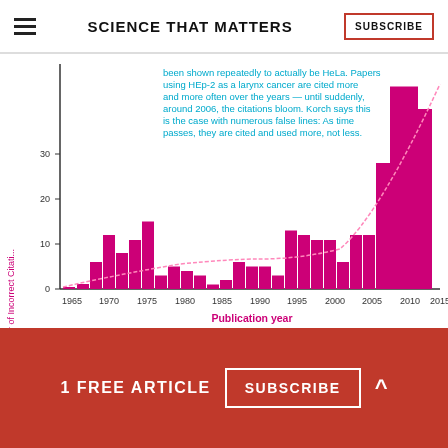SCIENCE THAT MATTERS
[Figure (bar-chart): Bar chart showing HEp-2 incorrect citations growing over time with exponential curve overlay. Annotation text in cyan: 'been shown repeatedly to actually be HeLa. Papers using HEp-2 as a larynx cancer are cited more and more often over the years — until suddenly, around 2006, the citations bloom. Korch says this is the case with numerous false lines: As time passes, they are cited and used more, not less.']
Alison Mackey/Discover after data from Christopher
1 FREE ARTICLE
SUBSCRIBE